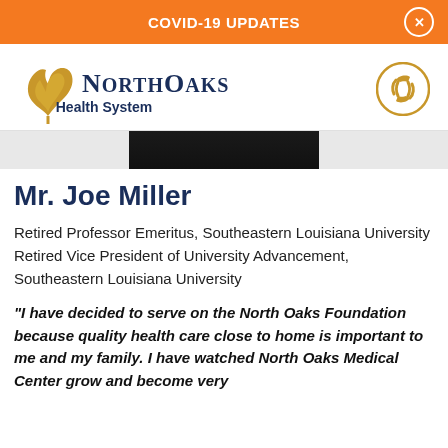COVID-19 UPDATES
[Figure (logo): NorthOaks Health System logo with golden oak leaf and dark blue wordmark]
[Figure (illustration): Partial photo of person, cropped at top of frame showing dark background]
Mr. Joe Miller
Retired Professor Emeritus, Southeastern Louisiana University
Retired Vice President of University Advancement, Southeastern Louisiana University
“I have decided to serve on the North Oaks Foundation because quality health care close to home is important to me and my family. I have watched North Oaks Medical Center grow and become very